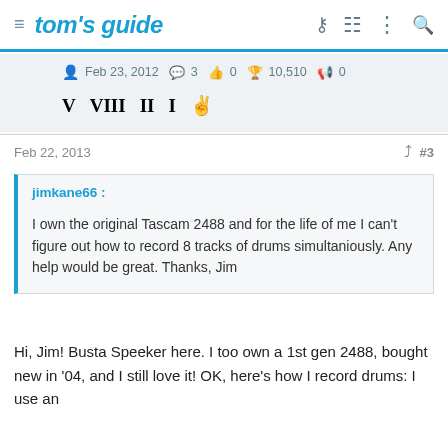tom's guide
Feb 23, 2012  3  0  10,510  0
[Figure (infographic): Badge symbols: V  VIII  II  I and a hand/dove icon]
Feb 22, 2013  #3
jimkane66 :

I own the original Tascam 2488 and for the life of me I can't figure out how to record 8 tracks of drums simultaniously. Any help would be great. Thanks, Jim
Hi, Jim! Busta Speeker here. I too own a 1st gen 2488, bought new in '04, and I still love it! OK, here's how I record drums: I use an